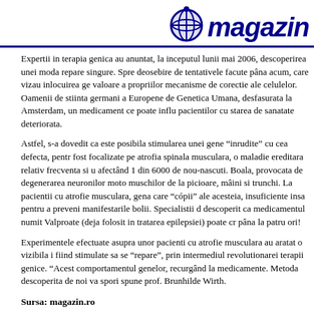magazin (logo)
Expertii in terapia genica au anuntat, la inceputul lunii mai 2006, descoperirea unei moda repare singure. Spre deosebire de tentativele facute pâna acum, care vizau inlocuirea ge valoare a propriilor mecanisme de corectie ale celulelor. Oamenii de stiinta germani a Europene de Genetica Umana, desfasurata la Amsterdam, un medicament ce poate influ pacientilor cu starea de sanatate deteriorata.
Astfel, s-a dovedit ca este posibila stimularea unei gene "inrudite" cu cea defecta, pentr fost focalizate pe atrofia spinala musculara, o maladie ereditara relativ frecventa si u afectând 1 din 6000 de nou-nascuti. Boala, provocata de degenerarea neuronilor moto muschilor de la picioare, mâini si trunchi. La pacientii cu atrofie musculara, gena care "cópii" ale acesteia, insuficiente insa pentru a preveni manifestarile bolii. Specialistii d descoperit ca medicamentul numit Valproate (deja folosit in tratarea epilepsiei) poate cr pâna la patru ori!
Experimentele efectuate asupra unor pacienti cu atrofie musculara au aratat o vizibila i fiind stimulate sa se "repare", prin intermediul revolutionarei terapii genice. "Acest comportamentul genelor, recurgând la medicamente. Metoda descoperita de noi va spori spune prof. Brunhilde Wirth.
Sursa: magazin.ro
(p)Link   Commenti (0)   Storico   Stampa
Carinzia: pattinare sul Millstättersee
By Admin (from 16/04/2011 @ 14:00:04, in it - Scienze e Societa,